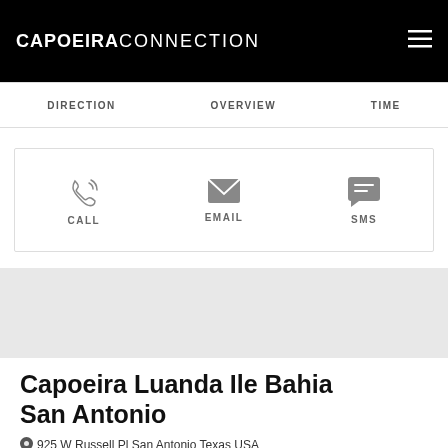CAPOEIRA CONNECTION
DIRECTION | OVERVIEW | TIME
CALL | EMAIL | SMS
[Figure (other): Gray map area placeholder]
Capoeira Luanda Ile Bahia San Antonio
925 W Russell Pl San Antonio Texas USA
Star rating: 0 out of 5 (5 empty stars)